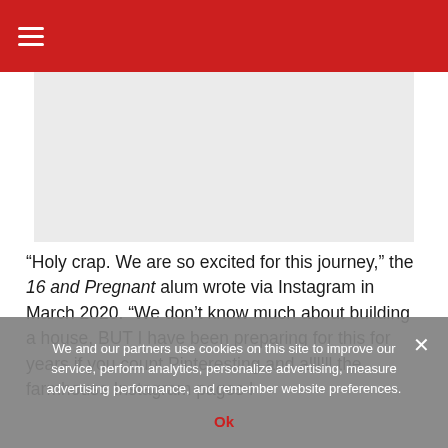≡
[Figure (other): Advertisement placeholder block, light gray background]
“Holy crap. We are so excited for this journey,” the 16 and Pregnant alum wrote via Instagram in March 2020. “We don’t know much about building a house, BUT I have been preparing for this for years if you count Pinteresting and allllll the farmhouse Instagram pages I
We and our partners use cookies on this site to improve our service, perform analytics, personalize advertising, measure advertising performance, and remember website preferences.
Ok